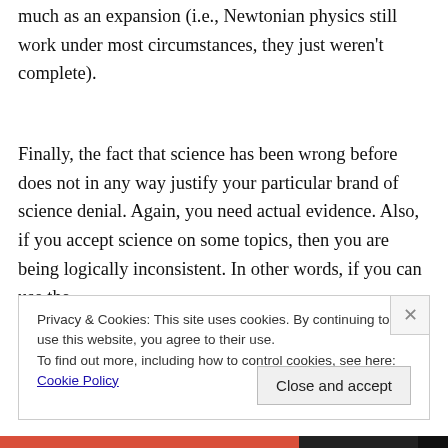much as an expansion (i.e., Newtonian physics still work under most circumstances, they just weren't complete).
Finally, the fact that science has been wrong before does not in any way justify your particular brand of science denial. Again, you need actual evidence. Also, if you accept science on some topics, then you are being logically inconsistent. In other words, if you can use the fact that science has been wrong before as an argument
Privacy & Cookies: This site uses cookies. By continuing to use this website, you agree to their use.
To find out more, including how to control cookies, see here: Cookie Policy